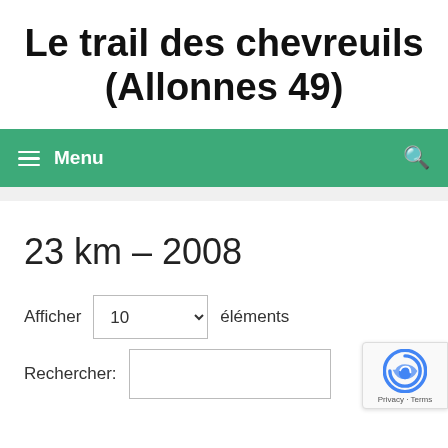Le trail des chevreuils (Allonnes 49)
≡ Menu
23 km – 2008
Afficher 10 éléments
Rechercher: